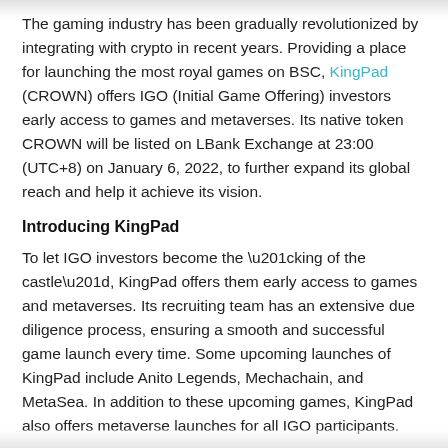The gaming industry has been gradually revolutionized by integrating with crypto in recent years. Providing a place for launching the most royal games on BSC, KingPad (CROWN) offers IGO (Initial Game Offering) investors early access to games and metaverses. Its native token CROWN will be listed on LBank Exchange at 23:00 (UTC+8) on January 6, 2022, to further expand its global reach and help it achieve its vision.
Introducing KingPad
To let IGO investors become the “king of the castle”, KingPad offers them early access to games and metaverses. Its recruiting team has an extensive due diligence process, ensuring a smooth and successful game launch every time. Some upcoming launches of KingPad include Anito Legends, Mechachain, and MetaSea. In addition to these upcoming games, KingPad also offers metaverse launches for all IGO participants.
The Goblin Guild of KingPad allows its native token CROWN holders to participate and play in launched games without requirements to purchase NFTs, reducing entry requirements into CROWN tokens.